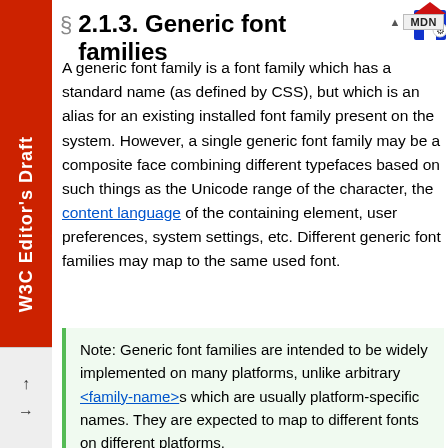W3C Editor's Draft
2.1.3. Generic font families
A generic font family is a font family which has a standard name (as defined by CSS), but which is an alias for an existing installed font family present on the system. However, a single generic font family may be a composite face combining different typefaces based on such things as the Unicode range of the character, the content language of the containing element, user preferences, system settings, etc. Different generic font families may map to the same used font.
Note: Generic font families are intended to be widely implemented on many platforms, unlike arbitrary <family-name>s which are usually platform-specific names. They are expected to map to different fonts on different platforms.